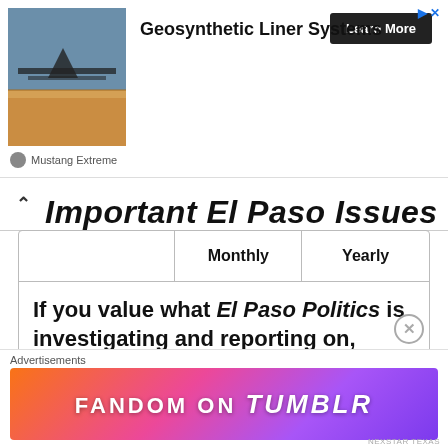[Figure (screenshot): Advertisement banner for Geosynthetic Liner Systems by Mustang Extreme, showing a landscape image with a liner system, headline text, and a Learn More button.]
Important El Paso Issues
|  | Monthly | Yearly |
| --- | --- | --- |
If you value what El Paso Politics is investigating and reporting on, show us your support by donating to help keep us going. In addition to time, there are research expenses that we cover out of
[Figure (screenshot): Fandom on Tumblr advertisement banner with colorful gradient background.]